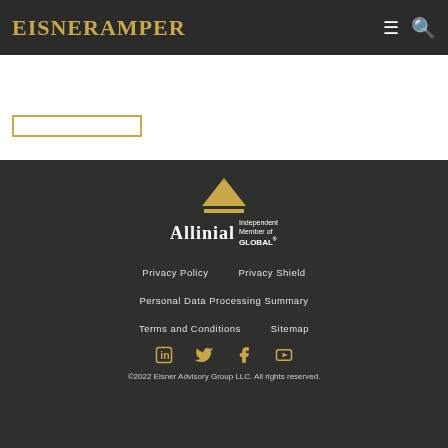[Figure (logo): EisnerAmper logo in gold serif text on dark header bar]
[Figure (logo): Allinial Global Independent Member logo with pyramid icon in gold and white text on dark footer]
Privacy Policy
Privacy Shield
Personal Data Processing Summary
Terms and Conditions
Sitemap
[Figure (infographic): Social media icons: LinkedIn, Twitter, Facebook, YouTube in gold]
©2022 Eisner Advisory Group LLC. All rights reserved.